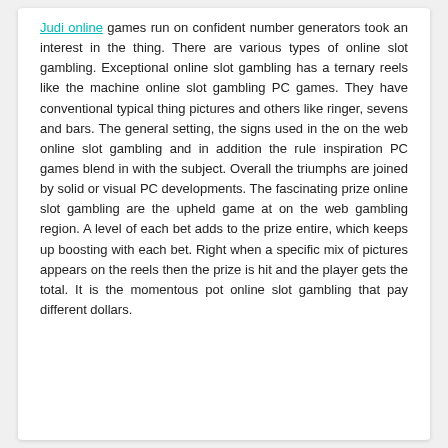Judi online games run on confident number generators took an interest in the thing. There are various types of online slot gambling. Exceptional online slot gambling has a ternary reels like the machine online slot gambling PC games. They have conventional typical thing pictures and others like ringer, sevens and bars. The general setting, the signs used in the on the web online slot gambling and in addition the rule inspiration PC games blend in with the subject. Overall the triumphs are joined by solid or visual PC developments. The fascinating prize online slot gambling are the upheld game at on the web gambling region. A level of each bet adds to the prize entire, which keeps up boosting with each bet. Right when a specific mix of pictures appears on the reels then the prize is hit and the player gets the total. It is the momentous pot online slot gambling that pay different dollars.